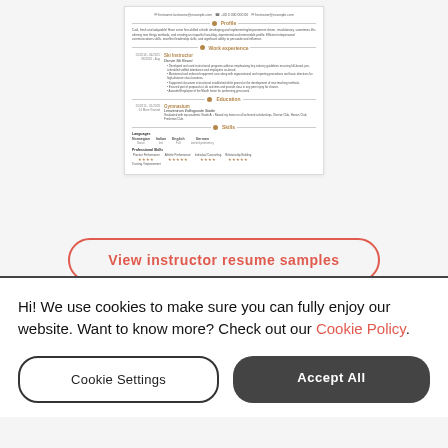[Figure (screenshot): A resume/CV preview card showing a ski instructor resume with sections for Profile, Work Experience, Education, and Skills including languages and professional skills with star ratings.]
View instructor resume samples
Hi! We use cookies to make sure you can fully enjoy our website. Want to know more? Check out our Cookie Policy.
Cookie Settings
Accept All